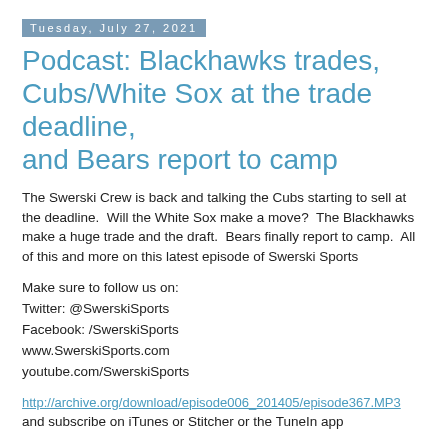Tuesday, July 27, 2021
Podcast: Blackhawks trades, Cubs/White Sox at the trade deadline, and Bears report to camp
The Swerski Crew is back and talking the Cubs starting to sell at the deadline.  Will the White Sox make a move?  The Blackhawks make a huge trade and the draft.  Bears finally report to camp.  All of this and more on this latest episode of Swerski Sports
Make sure to follow us on:
Twitter: @SwerskiSports
Facebook: /SwerskiSports
www.SwerskiSports.com
youtube.com/SwerskiSports
http://archive.org/download/episode006_201405/episode367.MP3
and subscribe on iTunes or Stitcher or the TuneIn app